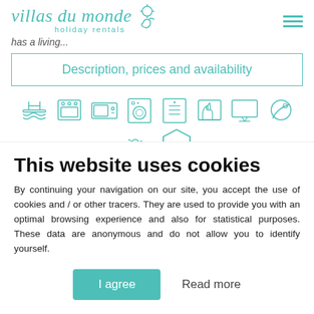[Figure (logo): Villas du Monde holiday rentals logo with teal/turquoise color and sun/leaf design]
has a living...
Description, prices and availability
[Figure (infographic): Row of teal amenity icons: swimming pool, oven, microwave, washing machine, dishwasher, fireplace, TV, wifi disc, pet-friendly, wifi]
1 review ★★★★½
This website uses cookies
By continuing your navigation on our site, you accept the use of cookies and / or other tracers. They are used to provide you with an optimal browsing experience and also for statistical purposes. These data are anonymous and do not allow you to identify yourself.
I agree
Read more